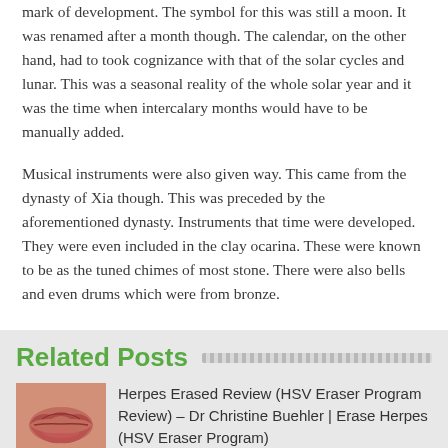mark of development. The symbol for this was still a moon. It was renamed after a month though. The calendar, on the other hand, had to took cognizance with that of the solar cycles and lunar. This was a seasonal reality of the whole solar year and it was the time when intercalary months would have to be manually added.
Musical instruments were also given way. This came from the dynasty of Xia though. This was preceded by the aforementioned dynasty. Instruments that time were developed. They were even included in the clay ocarina. These were known to be as the tuned chimes of most stone. There were also bells and even drums which were from bronze.
Related Posts
[Figure (photo): Close-up photo of lips, slightly parted, with reddish skin tone, serving as thumbnail for a related post about Herpes Erased Review.]
Herpes Erased Review (HSV Eraser Program Review) – Dr Christine Buehler | Erase Herpes (HSV Eraser Program)